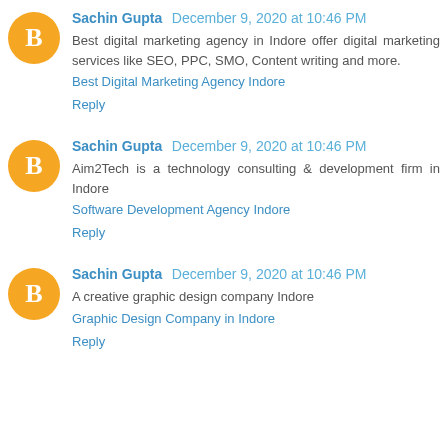Sachin Gupta December 9, 2020 at 10:46 PM
Best digital marketing agency in Indore offer digital marketing services like SEO, PPC, SMO, Content writing and more.
Best Digital Marketing Agency Indore
Reply
Sachin Gupta December 9, 2020 at 10:46 PM
Aim2Tech is a technology consulting & development firm in Indore
Software Development Agency Indore
Reply
Sachin Gupta December 9, 2020 at 10:46 PM
A creative graphic design company Indore
Graphic Design Company in Indore
Reply